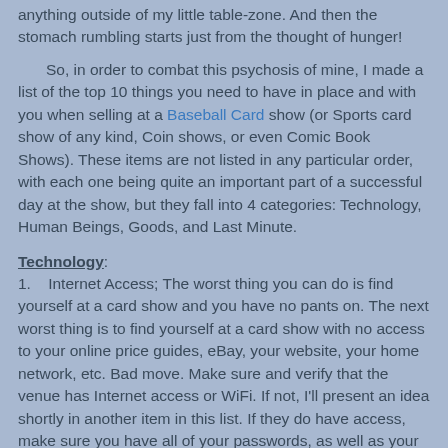anything outside of my little table-zone. And then the stomach rumbling starts just from the thought of hunger!
So, in order to combat this psychosis of mine, I made a list of the top 10 things you need to have in place and with you when selling at a Baseball Card show (or Sports card show of any kind, Coin shows, or even Comic Book Shows). These items are not listed in any particular order, with each one being quite an important part of a successful day at the show, but they fall into 4 categories: Technology, Human Beings, Goods, and Last Minute.
Technology:
1.    Internet Access; The worst thing you can do is find yourself at a card show and you have no pants on. The next worst thing is to find yourself at a card show with no access to your online price guides, eBay, your website, your home network, etc. Bad move. Make sure and verify that the venue has Internet access or WiFi. If not, I'll present an idea shortly in another item in this list. If they do have access, make sure you have all of your passwords, as well as your tablet, smart phone, laptop, and ALL power cables and chargers. Again;